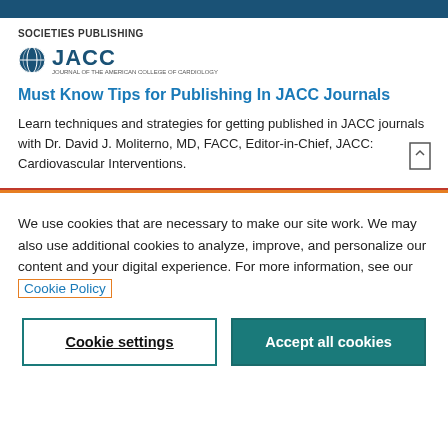SOCIETIES PUBLISHING
[Figure (logo): JACC journal logo with globe icon and JACC text]
Must Know Tips for Publishing In JACC Journals
Learn techniques and strategies for getting published in JACC journals with Dr. David J. Moliterno, MD, FACC, Editor-in-Chief, JACC: Cardiovascular Interventions.
We use cookies that are necessary to make our site work. We may also use additional cookies to analyze, improve, and personalize our content and your digital experience. For more information, see our Cookie Policy
Cookie settings
Accept all cookies